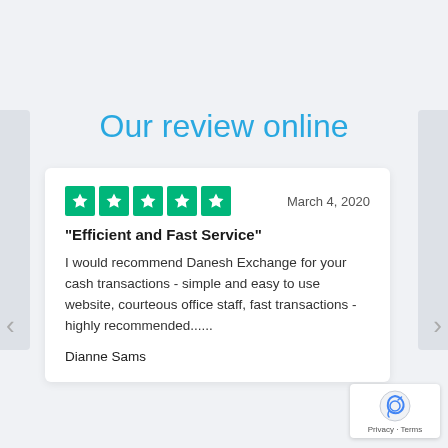Our review online
[Figure (other): Five green Trustpilot star rating boxes with white stars, followed by date 'March 4, 2020']
"Efficient and Fast Service"
I would recommend Danesh Exchange for your cash transactions - simple and easy to use website, courteous office staff, fast transactions - highly recommended......
Dianne Sams
[Figure (other): reCAPTCHA badge icon with 'Privacy - Terms' text below]